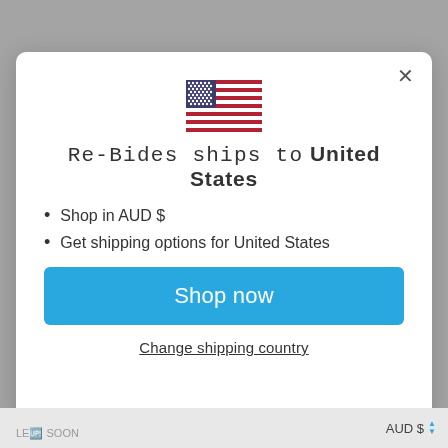[Figure (illustration): US flag emoji/icon displayed at center of modal]
Re-Bides ships to United States
Shop in AUD $
Get shipping options for United States
Shop now
Change shipping country